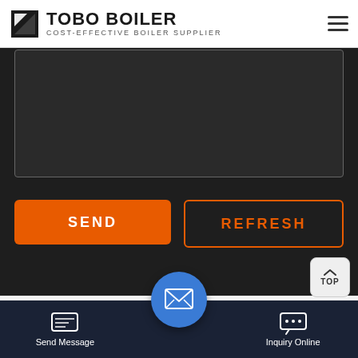TOBO BOILER - COST-EFFECTIVE BOILER SUPPLIER
[Figure (screenshot): Dark message/text area input box on dark background]
SEND
REFRESH
[Figure (screenshot): TOP scroll-to-top button, light gray rounded square with arrow and TOP text]
[Figure (photo): Industrial factory interior showing ceiling fans and equipment]
[Figure (logo): WhatsApp green banner with phone icon and WhatsApp text]
Send Message
Inquiry Online